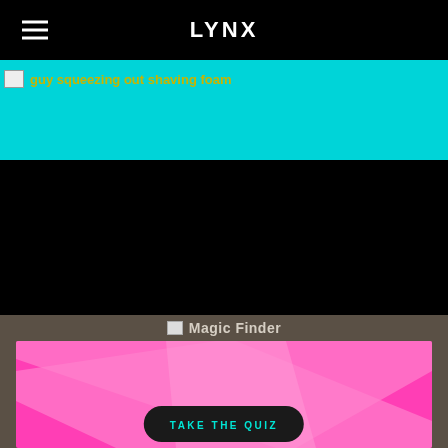LYNX
[Figure (screenshot): Lynx brand website screenshot showing navigation bar with hamburger menu and LYNX logo, a cyan/teal banner with a broken image placeholder labeled 'guy squeezing out shaving foam', a black content area, and a Magic Finder section with a pink graphic featuring a light pink X/cross shape and a 'TAKE THE QUIZ' button in dark rounded rectangle with teal text]
guy squeezing out shaving foam
Magic Finder
TAKE THE QUIZ